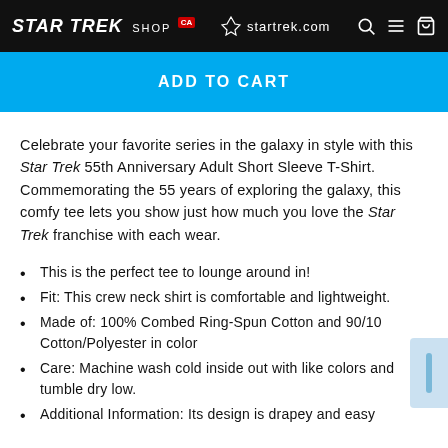STAR TREK SHOP | startrek.com
ADD TO CART
Celebrate your favorite series in the galaxy in style with this Star Trek 55th Anniversary Adult Short Sleeve T-Shirt. Commemorating the 55 years of exploring the galaxy, this comfy tee lets you show just how much you love the Star Trek franchise with each wear.
This is the perfect tee to lounge around in!
Fit: This crew neck shirt is comfortable and lightweight.
Made of: 100% Combed Ring-Spun Cotton and 90/10 Cotton/Polyester in color
Care: Machine wash cold inside out with like colors and tumble dry low.
Additional Information: Its design is drapey and easy